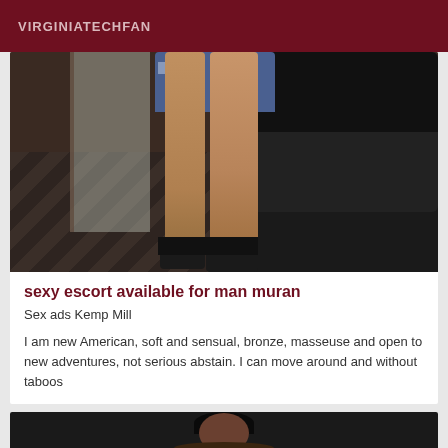VIRGINIATECHFAN
[Figure (photo): Photo of a person's legs wearing denim shorts and dark boots, standing on a wooden floor next to a dark leather sofa]
sexy escort available for man muran
Sex ads Kemp Mill
I am new American, soft and sensual, bronze, masseuse and open to new adventures, not serious abstain. I can move around and without taboos
[Figure (photo): Partially visible photo at the bottom of page, showing a person's face/head with dark hair against dark background]